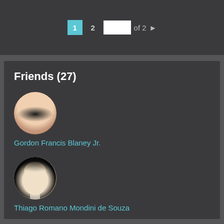1 2 [input] of 2 ▶
Friends (27)
[Figure (photo): Circular avatar photo of Gordon Francis Blaney Jr., a man with glasses and short hair]
Gordon Francis Blaney Jr.
[Figure (photo): Circular avatar photo of Thiago Romano Mondini de Souza, a man with light brown hair against a dark background]
Thiago Romano Mondini de Souza